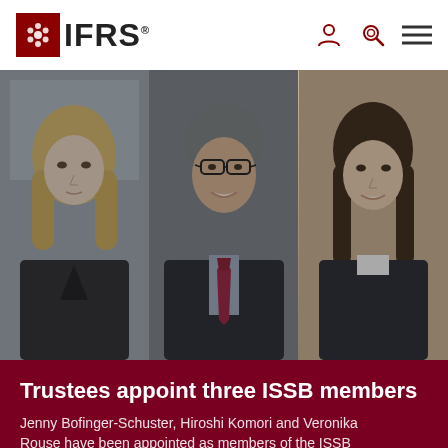[Figure (logo): IFRS Foundation logo with red square containing a hexagonal flower pattern and IFRS text, plus navigation icons (person, search, menu) on the right]
[Figure (photo): Three professional headshots side by side: Jenny Bofinger-Schuster (blonde woman in dark blazer), Hiroshi Komori (older Asian man with glasses and red tie), and Veronika (woman with dark hair in dark blazer), all in formal attire against office/studio backgrounds]
Trustees appoint three ISSB members
Jenny Bofinger-Schuster, Hiroshi Komori and Veronika Rouse have been appointed as members of the ISSB